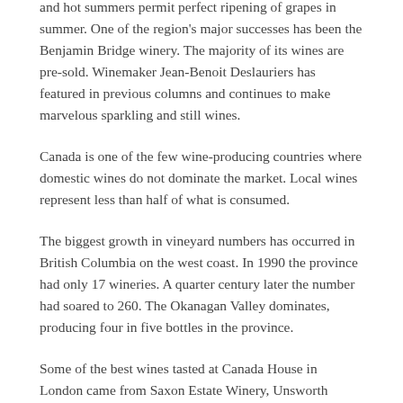and hot summers permit perfect ripening of grapes in summer. One of the region's major successes has been the Benjamin Bridge winery. The majority of its wines are pre-sold. Winemaker Jean-Benoit Deslauriers has featured in previous columns and continues to make marvelous sparkling and still wines.
Canada is one of the few wine-producing countries where domestic wines do not dominate the market. Local wines represent less than half of what is consumed.
The biggest growth in vineyard numbers has occurred in British Columbia on the west coast. In 1990 the province had only 17 wineries. A quarter century later the number had soared to 260. The Okanagan Valley dominates, producing four in five bottles in the province.
Some of the best wines tasted at Canada House in London came from Saxon Estate Winery, Unsworth Winery, Meyer Family Vineyards and Okanagan Crush Pad. It should be noted that this